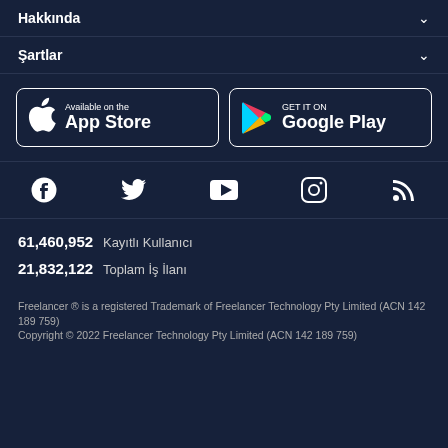Hakkında
Şartlar
[Figure (screenshot): App Store and Google Play download buttons]
[Figure (infographic): Social media icons: Facebook, Twitter, YouTube, Instagram, RSS]
61,460,952  Kayıtlı Kullanıcı
21,832,122  Toplam İş İlanı
Freelancer ® is a registered Trademark of Freelancer Technology Pty Limited (ACN 142 189 759)
Copyright © 2022 Freelancer Technology Pty Limited (ACN 142 189 759)